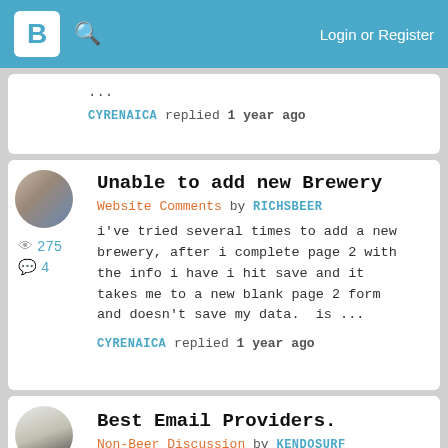B [logo] [search] Login or Register
...
CYRENAICA replied 1 year ago
Unable to add new Brewery
Website Comments by RICHSBEER
i've tried several times to add a new brewery, after i complete page 2 with the info i have i hit save and it takes me to a new blank page 2 form and doesn't save my data.  is ...
CYRENAICA replied 1 year ago
275 views, 4 comments
Best Email Providers.
Non-Beer Discussion by KENDOSURF
My online searches have shown that ProtonMail and Tutanota may be the
602 views